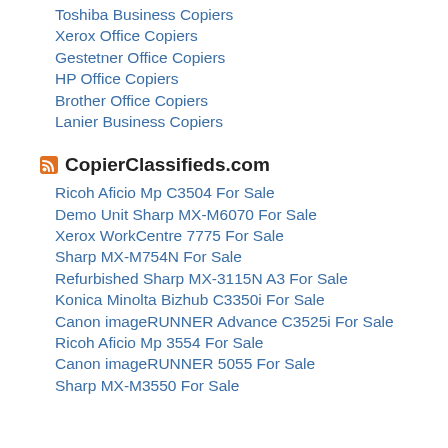Toshiba Business Copiers
Xerox Office Copiers
Gestetner Office Copiers
HP Office Copiers
Brother Office Copiers
Lanier Business Copiers
CopierClassifieds.com
Ricoh Aficio Mp C3504 For Sale
Demo Unit Sharp MX-M6070 For Sale
Xerox WorkCentre 7775 For Sale
Sharp MX-M754N For Sale
Refurbished Sharp MX-3115N A3 For Sale
Konica Minolta Bizhub C3350i For Sale
Canon imageRUNNER Advance C3525i For Sale
Ricoh Aficio Mp 3554 For Sale
Canon imageRUNNER 5055 For Sale
Sharp MX-M3550 For Sale